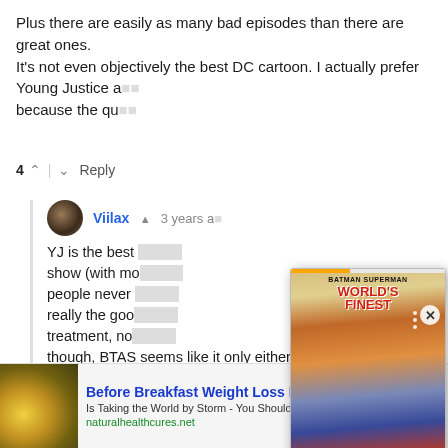Plus there are easily as many bad episodes than there are great ones.
It's not even objectively the best DC cartoon. I actually prefer Young Justice and because the qua…
4  Reply
Viilax • 3 years a…
YJ is the best show (with mo… people never really the goo… treatment, no… though, BTAS seems like it only either has great episodes…
[Figure (screenshot): Ad overlay showing Batman/Superman: World's Finest comic book cover with orange play button and progress bar]
[Figure (infographic): Bottom banner ad: Before Breakfast Weight Loss Method - Is Taking the World by Storm - You Should Check it Out - naturalhealthcures.net]